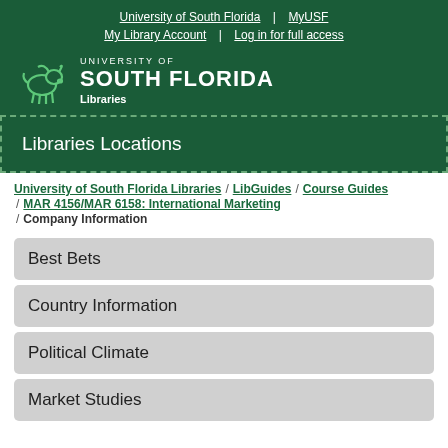University of South Florida | MyUSF
My Library Account | Log in for full access
[Figure (logo): University of South Florida Libraries logo with bull mascot]
Libraries Locations
University of South Florida Libraries / LibGuides / Course Guides / MAR 4156/MAR 6158: International Marketing / Company Information
Best Bets
Country Information
Political Climate
Market Studies